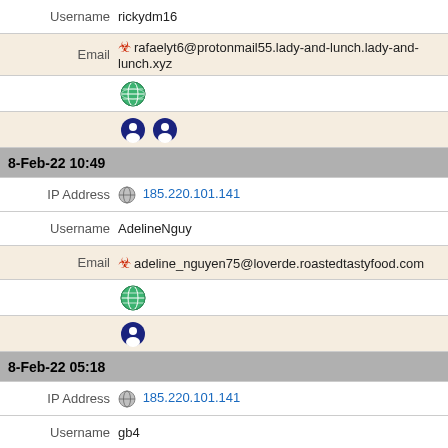Username   rickydm16
Email  rafaelyt6@protonmail55.lady-and-lunch.lady-and-lunch.xyz
[Figure (other): Globe icon (green)]
[Figure (other): Two dark blue circular icons]
8-Feb-22 10:49
IP Address  185.220.101.141
Username   AdelineNguy
Email  adeline_nguyen75@loverde.roastedtastyfood.com
[Figure (other): Globe icon (green)]
[Figure (other): Dark blue circular icon]
8-Feb-22 05:18
IP Address  185.220.101.141
Username   gb4
Email  nf6@haruki810.hideo51.officemail.in.net
[Figure (other): Globe icon (green)]
[Figure (other): Dark blue circular icon]